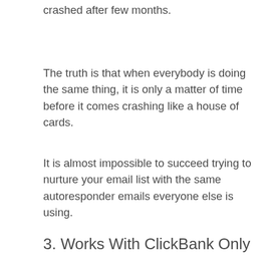crashed after few months.
The truth is that when everybody is doing the same thing, it is only a matter of time before it comes crashing like a house of cards.
It is almost impossible to succeed trying to nurture your email list with the same autoresponder emails everyone else is using.
3. Works With ClickBank Only